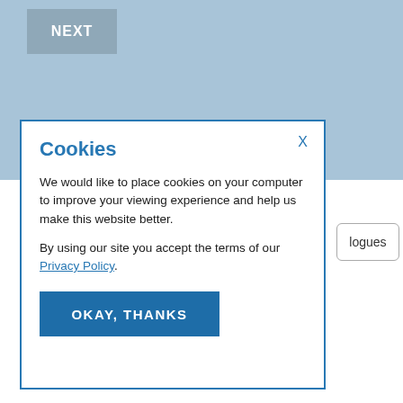[Figure (screenshot): Blue header background area of a website]
NEXT
[Figure (screenshot): Cookie consent modal dialog with title 'Cookies', body text, Privacy Policy link, close X button, and OKAY THANKS button]
Cookies
We would like to place cookies on your computer to improve your viewing experience and help us make this website better.
By using our site you accept the terms of our Privacy Policy.
OKAY, THANKS